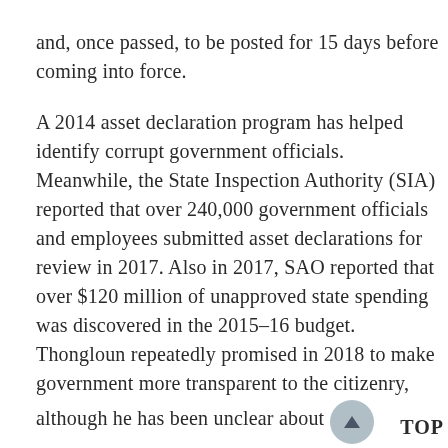and, once passed, to be posted for 15 days before coming into force.
A 2014 asset declaration program has helped identify corrupt government officials. Meanwhile, the State Inspection Authority (SIA) reported that over 240,000 government officials and employees submitted asset declarations for review in 2017. Also in 2017, SAO reported that over $120 million of unapproved state spending was discovered in the 2015–16 budget. Thongloun repeatedly promised in 2018 to make government more transparent to the citizenry, although he has been unclear about how he will do so. TOP
Authorities released little information about the July 2018 dam collapse, and what information was released was often contradictory.